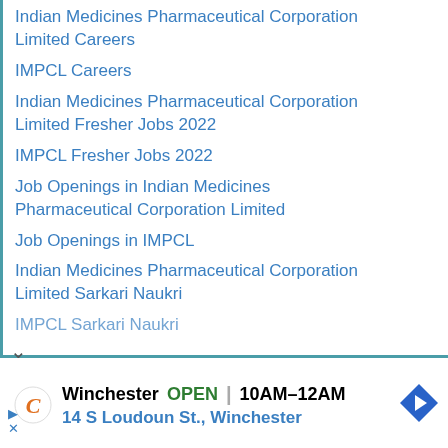Indian Medicines Pharmaceutical Corporation Limited Careers
IMPCL Careers
Indian Medicines Pharmaceutical Corporation Limited Fresher Jobs 2022
IMPCL Fresher Jobs 2022
Job Openings in Indian Medicines Pharmaceutical Corporation Limited
Job Openings in IMPCL
Indian Medicines Pharmaceutical Corporation Limited Sarkari Naukri
IMPCL Sarkari Naukri
Winchester  OPEN | 10AM–12AM
14 S Loudoun St., Winchester